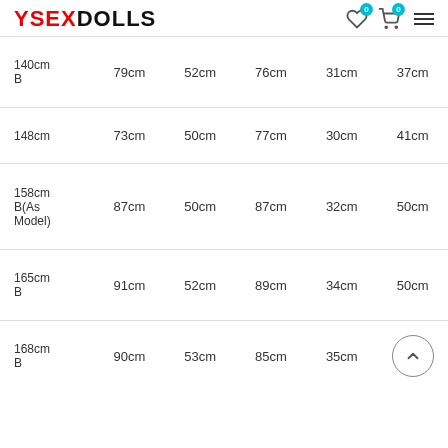YSEXDOLLS
| Size | Bust | Waist | Hip | Shoulder | Leg |
| --- | --- | --- | --- | --- | --- |
| 140cm B | 79cm | 52cm | 76cm | 31cm | 37cm |
| 148cm | 73cm | 50cm | 77cm | 30cm | 41cm |
| 158cm B(As Model) | 87cm | 50cm | 87cm | 32cm | 50cm |
| 165cm B | 91cm | 52cm | 89cm | 34cm | 50cm |
| 168cm B | 90cm | 53cm | 85cm | 35cm |  |